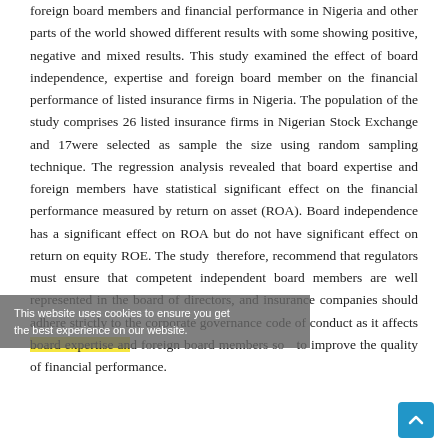foreign board members and financial performance in Nigeria and other parts of the world showed different results with some showing positive, negative and mixed results. This study examined the effect of board independence, expertise and foreign board member on the financial performance of listed insurance firms in Nigeria. The population of the study comprises 26 listed insurance firms in Nigerian Stock Exchange and 17were selected as sample the size using random sampling technique. The regression analysis revealed that board expertise and foreign members have statistical significant effect on the financial performance measured by return on asset (ROA). Board independence has a significant effect on ROA but do not have significant effect on return on equity ROE. The study therefore, recommend that regulators must ensure that competent independent board members are well represented in the board of directors, and insurance companies should adhere strictly to the corporate governance code of conduct as it affects board expertise and foreign board members so to improve the quality of financial performance.
This website uses cookies to ensure you get the best experience on our website.